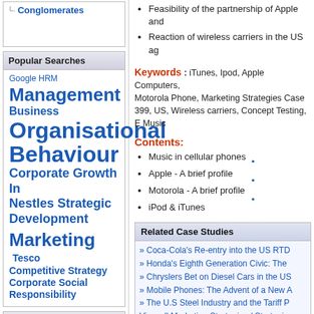Conglomerates
Popular Searches
Google HRM
Management
Business
Organisational Behaviour
Corporate Growth In Nestles Strategic Development
Marketing
Tesco Competitive Strategy
Corporate Social Responsibility
Useful Links
How to buy case studies?
Pricing Information
Feasibility of the partnership of Apple and
Reaction of wireless carriers in the US ag
Keywords : iTunes, Ipod, Apple Computers, Motorola Phone, Marketing Strategies Case 399, US, Wireless carriers, Concept Testing, E Music
Contents:
Music in cellular phones
Apple - A brief profile
Motorola - A brief profile
iPod & iTunes
Related Case Studies
Coca-Cola's Re-entry into the US RTD
Honda's Eighth Generation Civic: The
Chryslers Bet on Diesel Cars in the US
Mobile Phones: The Advent of a New A
The U.S Steel Industry and the Tariff P
View all Marketing Strategies / Strategic
Recently Bought Case Studies